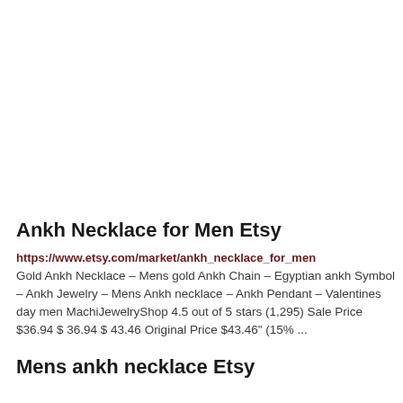Ankh Necklace for Men Etsy
https://www.etsy.com/market/ankh_necklace_for_men
Gold Ankh Necklace – Mens gold Ankh Chain – Egyptian ankh Symbol – Ankh Jewelry – Mens Ankh necklace – Ankh Pendant – Valentines day men MachiJewelryShop 4.5 out of 5 stars (1,295) Sale Price $36.94 $ 36.94 $ 43.46 Original Price $43.46" (15% ...
Mens ankh necklace Etsy